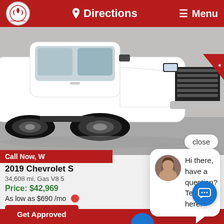Directions  Menu
[Figure (photo): White 2019 Chevrolet Silverado pickup truck photographed in a dealership showroom, front three-quarter view showing grille and passenger side]
Call Now, W
2019 Chevrolet S
34,608 mi, Gas V8 5
Price: $42,969
As low as $690 /mo
Get Approved
Hi there, have a question? Text us here.
SHOW ME THE